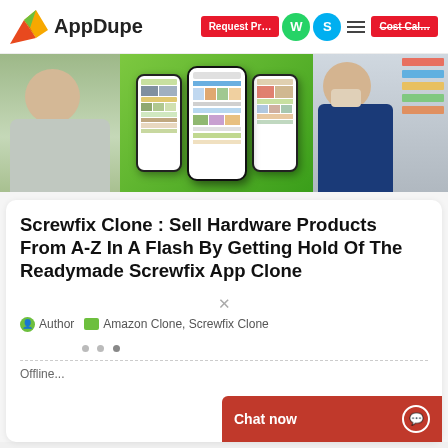[Figure (logo): AppDupe logo with orange/red/green arrow icon and 'AppDupe' text]
[Figure (screenshot): Navigation buttons: 'Request Pr...' red button, WhatsApp icon, Skype icon, hamburger menu, 'Cost Cal...' red button]
[Figure (photo): Hero banner showing a woman with a phone on left, app UI screenshots in center, masked store worker on right, on a green gradient background]
Screwfix Clone : Sell Hardware Products From A-Z In A Flash By Getting Hold Of The Readymade Screwfix App Clone
Author   Amazon Clone, Screwfix Clone
Offline...